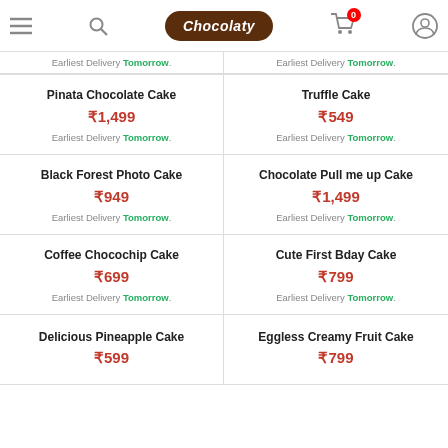Chocolaty — mobile app header with menu, search, logo, cart (0 items), and user icon
Earliest Delivery Tomorrow.
Earliest Delivery Tomorrow.
Pinata Chocolate Cake ₹1,499 Earliest Delivery Tomorrow.
Truffle Cake ₹549 Earliest Delivery Tomorrow.
Black Forest Photo Cake ₹949 Earliest Delivery Tomorrow.
Chocolate Pull me up Cake ₹1,499 Earliest Delivery Tomorrow.
Coffee Chocochip Cake ₹699 Earliest Delivery Tomorrow.
Cute First Bday Cake ₹799 Earliest Delivery Tomorrow.
Delicious Pineapple Cake ₹599
Eggless Creamy Fruit Cake ₹799